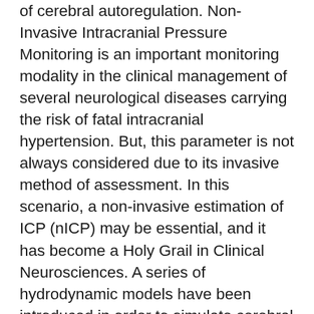of cerebral autoregulation. Non-Invasive Intracranial Pressure Monitoring is an important monitoring modality in the clinical management of several neurological diseases carrying the risk of fatal intracranial hypertension. But, this parameter is not always considered due to its invasive method of assessment. In this scenario, a non-invasive estimation of ICP (nICP) may be essential, and it has become a Holy Grail in Clinical Neurosciences. A series of hydrodynamic models have been introduced in order to simulate cerebral haemodynamics. The identification of hydrodynamic models requires an array of signals as input, with the most common of them being arterial blood pressure, intracranial pressure, and cerebral blood flow velocity. Based on these signals, physiological parameters such as